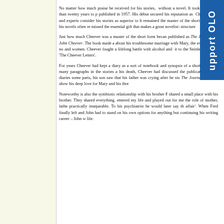No matter how much praise he received for his stories, without a novel. It took him more than twenty years to published in 1957. His debut secured his reputation as Cheever fans and experts consider his stories as superior to remained the master of the short form, and his novels often re missed the essential gift that makes a great novelist: structure
Just how much Cheever was a master of the short form becan published as The Journals of John Cheever. The book made a about his troublesome marriage with Mary, the extent of his no and women. Cheever fought a lifelong battle with alcohol and it to the Seinfeld episode 'The Cheever Letters'.
For years Cheever had kept a diary as a sort of notebook and synopsis of a short story and many paragraphs in the stories a his death, Cheever had discussed the publication of his diaries some parts, his son saw that his father was crying after he sto The Journals, clearly show his deep love for Mary and his thre
Noteworthy is also the symbiotic relationship with his brother F shared a small place with his brother. They shared everything. entered my life and played out for me the role of mother, fathe practically inseparable. To his psychiatrist he would later say th affair'. When Fred finally left and John had to stand on his own options for anything but continuing his writing career – John w life.